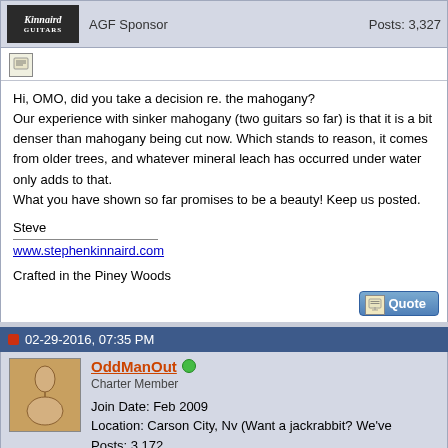AGF Sponsor   Posts: 3,327
Hi, OMO, did you take a decision re. the mahogany?
Our experience with sinker mahogany (two guitars so far) is that it is a bit denser than mahogany being cut now. Which stands to reason, it comes from older trees, and whatever mineral leach has occurred under water only adds to that.
What you have shown so far promises to be a beauty! Keep us posted.

Steve

www.stephenkinnaird.com

Crafted in the Piney Woods
02-29-2016, 07:35 PM
OddManOut
Charter Member
Join Date: Feb 2009
Location: Carson City, Nv (Want a jackrabbit? We've
Posts: 3,172
Quote: